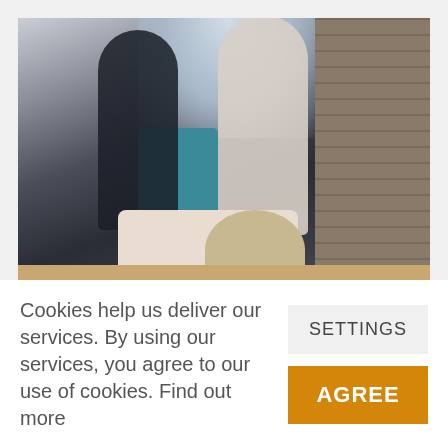[Figure (photo): A distressing domestic scene: in the background, two adults appear to be in a heated argument — a woman in a dark plaid shirt and a bearded man in a white tank top facing each other near a brick wall. In the foreground, a young child lies face-down on a wooden table with arms crossed, eyes closed, next to a large stuffed teddy bear.]
Cookies help us deliver our services. By using our services, you agree to our use of cookies. Find out more
SETTINGS
AGREE